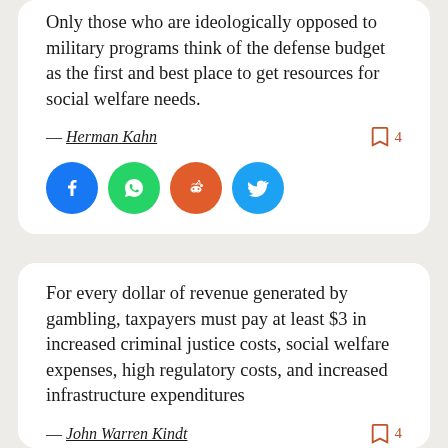Only those who are ideologically opposed to military programs think of the defense budget as the first and best place to get resources for social welfare needs.
— Herman Kahn
[Figure (infographic): Social share buttons: Facebook, WhatsApp, Reddit, Twitter]
For every dollar of revenue generated by gambling, taxpayers must pay at least $3 in increased criminal justice costs, social welfare expenses, high regulatory costs, and increased infrastructure expenditures
— John Warren Kindt